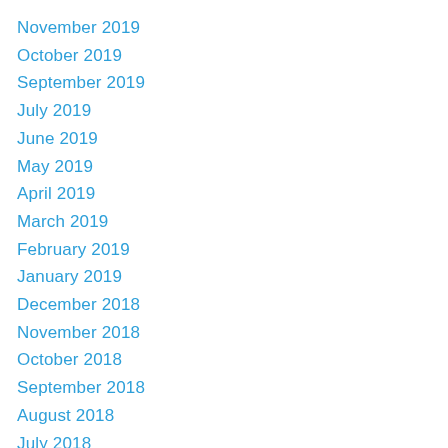November 2019
October 2019
September 2019
July 2019
June 2019
May 2019
April 2019
March 2019
February 2019
January 2019
December 2018
November 2018
October 2018
September 2018
August 2018
July 2018
June 2018
May 2018
April 2018
March 2018